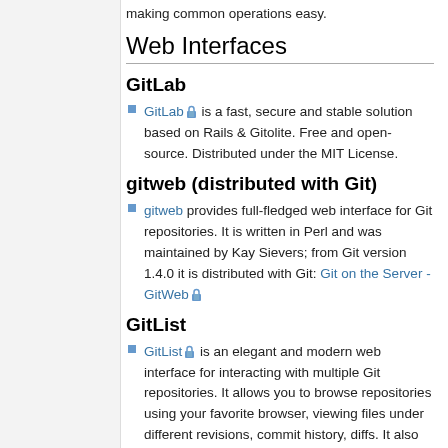making common operations easy.
Web Interfaces
GitLab
GitLab 🔒 is a fast, secure and stable solution based on Rails & Gitolite. Free and open-source. Distributed under the MIT License.
gitweb (distributed with Git)
gitweb provides full-fledged web interface for Git repositories. It is written in Perl and was maintained by Kay Sievers; from Git version 1.4.0 it is distributed with Git: Git on the Server - GitWeb 🔒
GitList
GitList 🔒 is an elegant and modern web interface for interacting with multiple Git repositories. It allows you to browse repositories using your favorite browser, viewing files under different revisions, commit history, diffs. It also generates RSS